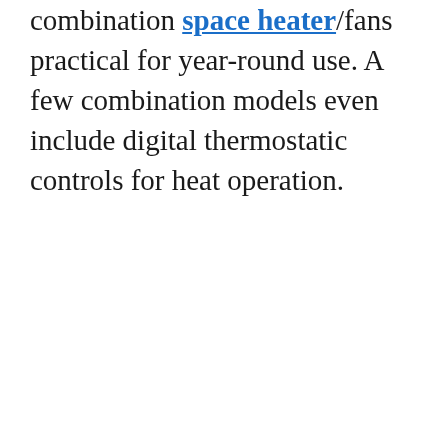combination space heater/fans practical for year-round use. A few combination models even include digital thermostatic controls for heat operation.